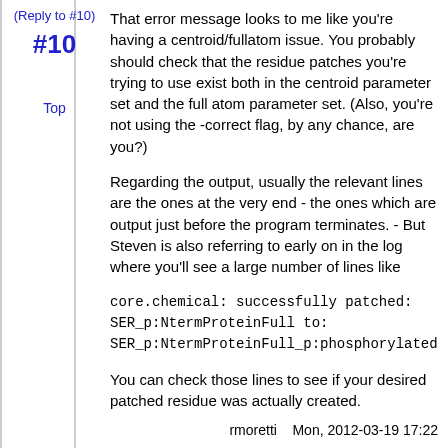(Reply to #10)
#10
Top
That error message looks to me like you're having a centroid/fullatom issue. You probably should check that the residue patches you're trying to use exist both in the centroid parameter set and the full atom parameter set. (Also, you're not using the -correct flag, by any chance, are you?)
Regarding the output, usually the relevant lines are the ones at the very end - the ones which are output just before the program terminates. - But Steven is also referring to early on in the log where you'll see a large number of lines like
core.chemical: successfully patched: SER_p:NtermProteinFull to: SER_p:NtermProteinFull_p:phosphorylated
You can check those lines to see if your desired patched residue was actually created.
rmoretti    Mon, 2012-03-19 17:22